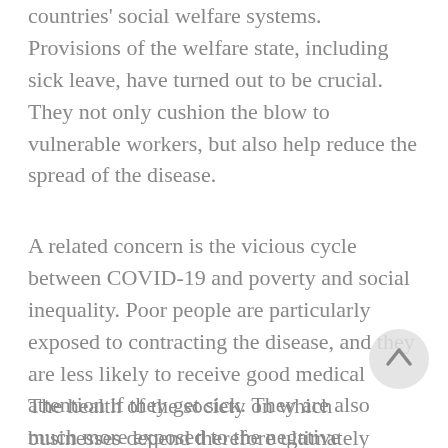countries' social welfare systems. Provisions of the welfare state, including sick leave, have turned out to be crucial. They not only cushion the blow to vulnerable workers, but also help reduce the spread of the disease.
A related concern is the vicious cycle between COVID-19 and poverty and social inequality. Poor people are particularly exposed to contracting the disease, and they are less likely to receive good medical attention if they get sick. They are also much more exposed to the negative economic impacts.
The health of the society on which businesses depend therefore ultimately